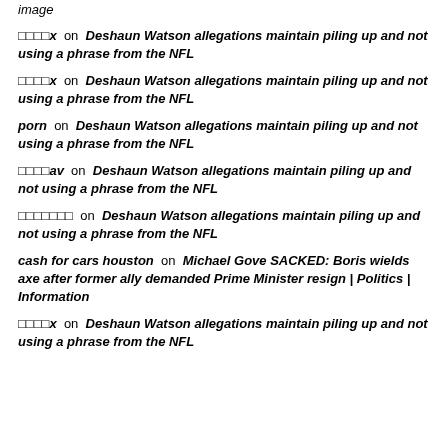image
□□□□x  on  Deshaun Watson allegations maintain piling up and not using a phrase from the NFL
□□□□x  on  Deshaun Watson allegations maintain piling up and not using a phrase from the NFL
porn  on  Deshaun Watson allegations maintain piling up and not using a phrase from the NFL
□□□□av  on  Deshaun Watson allegations maintain piling up and not using a phrase from the NFL
□□□□□□□  on  Deshaun Watson allegations maintain piling up and not using a phrase from the NFL
cash for cars houston  on  Michael Gove SACKED: Boris wields axe after former ally demanded Prime Minister resign | Politics | Information
□□□□x  on  Deshaun Watson allegations maintain piling up and not using a phrase from the NFL